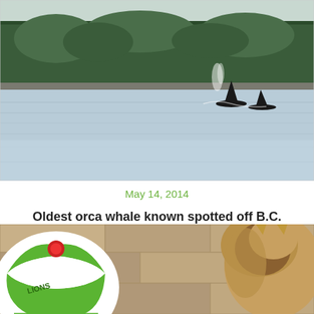[Figure (photo): Photograph of orca whale dorsal fins visible above water surface with forested hillside in background, misty coastal BC scene]
May 14, 2014
Oldest orca whale known spotted off B.C. coast
[Figure (photo): Partial photograph showing a lion with a green and white Lionsgate branded beach ball or sphere visible on the left side]